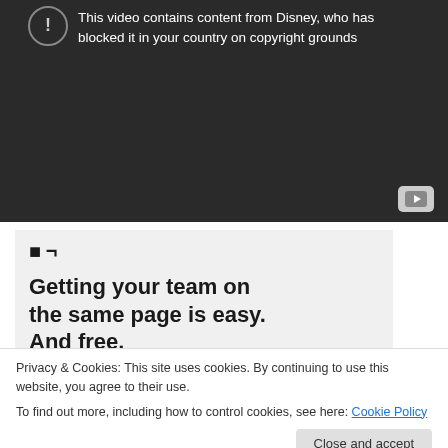[Figure (screenshot): YouTube video blocked message on dark background. A circular icon with exclamation mark and text reading 'This video contains content from Disney, who has blocked it in your country on copyright grounds'. YouTube logo icon in bottom right corner.]
[Figure (screenshot): Advertisement screenshot on light gray background showing bold text 'Getting your team on the same page is easy. And free.' with four circular avatar photos below.]
Privacy & Cookies: This site uses cookies. By continuing to use this website, you agree to their use.
To find out more, including how to control cookies, see here: Cookie Policy
Close and accept
*Hard to believe there are so few videos related to Easter